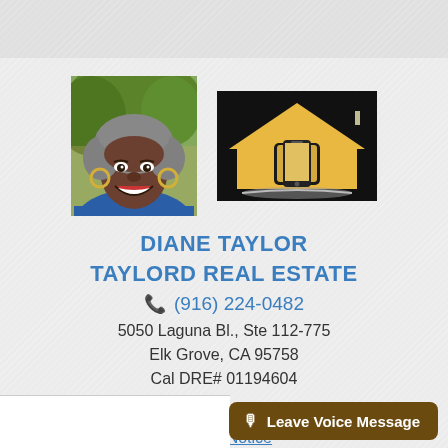[Figure (photo): Headshot photo of Diane Taylor, a smiling woman with curly gray hair wearing a blue top]
[Figure (logo): Taylord Real Estate logo: black background with a yellow house icon and a smartphone inside it]
DIANE TAYLOR
TAYLORD REAL ESTATE
(916) 224-0482
5050 Laguna Bl., Ste 112-775
Elk Grove, CA 95758
Cal DRE# 01194604
Email Me
DMCA Notice
Leave Voice Message